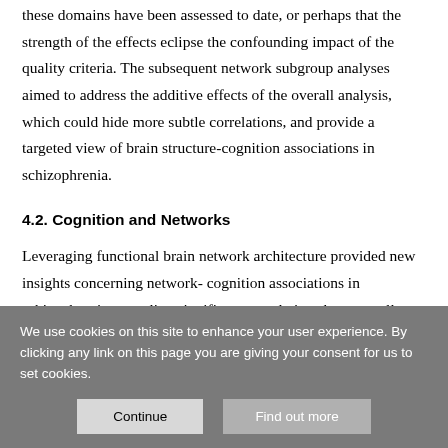these domains have been assessed to date, or perhaps that the strength of the effects eclipse the confounding impact of the quality criteria. The subsequent network subgroup analyses aimed to address the additive effects of the overall analysis, which could hide more subtle correlations, and provide a targeted view of brain structure-cognition associations in schizophrenia.
4.2. Cognition and Networks
Leveraging functional brain network architecture provided new insights concerning network- cognition associations in schizophrenia, revealing significant correlations between all cognitive domains and at least one brain network. Follow-up analyses allowed us to pinpoint within- network regions
We use cookies on this site to enhance your user experience. By clicking any link on this page you are giving your consent for us to set cookies.